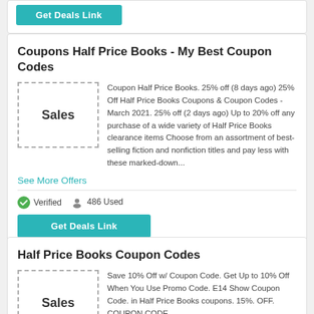[Figure (other): Get Deals Link teal button (partial, top of page)]
Coupons Half Price Books - My Best Coupon Codes
[Figure (other): Sales box with dashed border]
Coupon Half Price Books. 25% off (8 days ago) 25% Off Half Price Books Coupons & Coupon Codes - March 2021. 25% off (2 days ago) Up to 20% off any purchase of a wide variety of Half Price Books clearance items Choose from an assortment of best-selling fiction and nonfiction titles and pay less with these marked-down...
See More Offers
Verified   486 Used
[Figure (other): Get Deals Link teal button]
Half Price Books Coupon Codes
[Figure (other): Sales box with dashed border]
Save 10% Off w/ Coupon Code. Get Up to 10% Off When You Use Promo Code. E14 Show Coupon Code. in Half Price Books coupons. 15%. OFF. COUPON CODE.